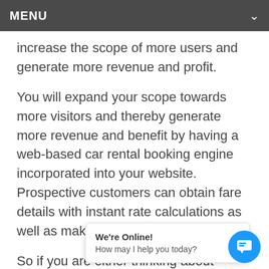MENU
increase the scope of more users and generate more revenue and profit.
You will expand your scope towards more visitors and thereby generate more revenue and benefit by having a web-based car rental booking engine incorporated into your website. Prospective customers can obtain fare details with instant rate calculations as well as make a booking online.
So if you are either thinking about starting up a travel company or if you already have an established business and are searching for a technology partner to meet your growing needs. Look no further. T
We're Online! How may I help you today?